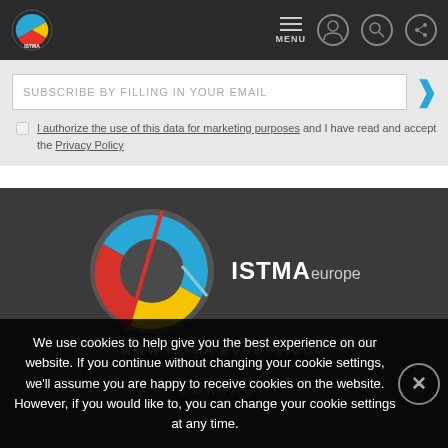ISTMA europe - website header with logo, MENU, and navigation icons
SUBSCRIBE BY FILLING IN YOUR EMAIL
I authorize the use of this data for marketing purposes and I have read and accept the Privacy Policy
[Figure (logo): ISTMA europe large logo on dark background]
WWW.ISTMA-EUROPE.COM
CONTACT
We use cookies to help give you the best experience on our website. If you continue without changing your cookie settings, we'll assume you are happy to receive cookies on the website. However, if you would like to, you can change your cookie settings at any time.